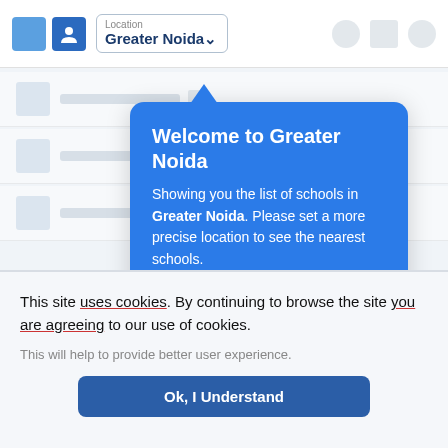[Figure (screenshot): App navigation bar with location selector showing 'Greater Noida' and right-side icons]
[Figure (screenshot): Tooltip popup bubble with blue background saying 'Welcome to Greater Noida' with Later and Okay buttons]
This site uses cookies. By continuing to browse the site you are agreeing to our use of cookies.
This will help to provide better user experience.
Ok, I Understand